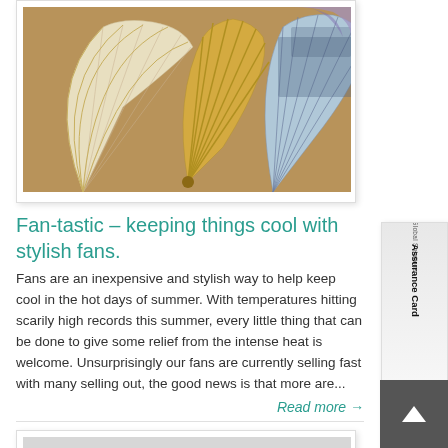[Figure (photo): Photo of three decorative hand fans arranged on a wooden surface: a white/cream carved fan on the left, a yellow bamboo fan in the center, and a blue and grey patterned fan on the right.]
Fan-tastic – keeping things cool with stylish fans.
Fans are an inexpensive and stylish way to help keep cool in the hot days of summer. With temperatures hitting scarily high records this summer, every little thing that can be done to give some relief from the intense heat is welcome. Unsurprisingly our fans are currently selling fast with many selling out, the good news is that more are...
Read more →
[Figure (photo): Partially visible black and white photograph at the bottom of the page, showing what appears to be glassware or metal rings.]